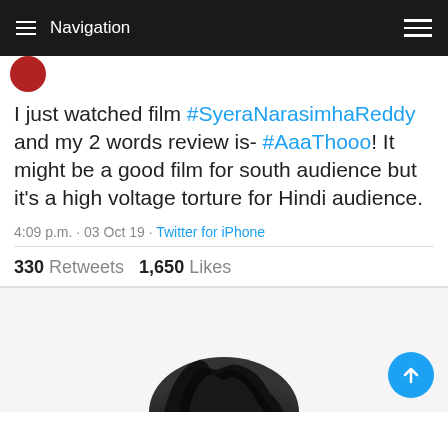≡ Navigation
I just watched film #SyeraNarasimhaReddy and my 2 words review is- #AaaThooo! It might be a good film for south audience but it's a high voltage torture for Hindi audience.
4:09 p.m. · 03 Oct 19 · Twitter for iPhone
330 Retweets   1,650 Likes
[Figure (photo): Dark hair partially visible at bottom of page]